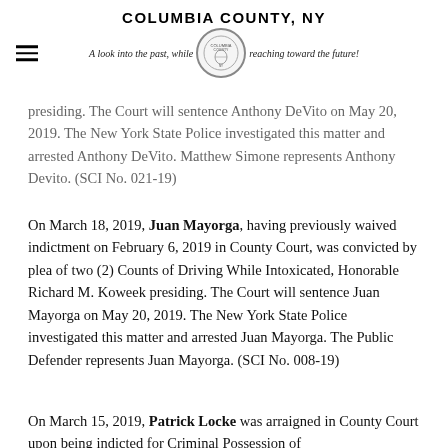COLUMBIA COUNTY, NY — A look into the past, while reaching toward the future!
presiding.  The Court will sentence Anthony DeVito on May 20, 2019.  The New York State Police investigated this matter and arrested Anthony DeVito.  Matthew Simone represents Anthony Devito.  (SCI No. 021-19)
On March 18, 2019, Juan Mayorga, having previously waived indictment on February 6, 2019 in County Court, was convicted by plea of two (2) Counts of Driving While Intoxicated, Honorable Richard M. Koweek presiding.  The Court will sentence Juan Mayorga on May 20, 2019.  The New York State Police investigated this matter and arrested Juan Mayorga.  The Public Defender represents Juan Mayorga.  (SCI No. 008-19)
On March 15, 2019, Patrick Locke was arraigned in County Court upon being indicted for Criminal Possession of